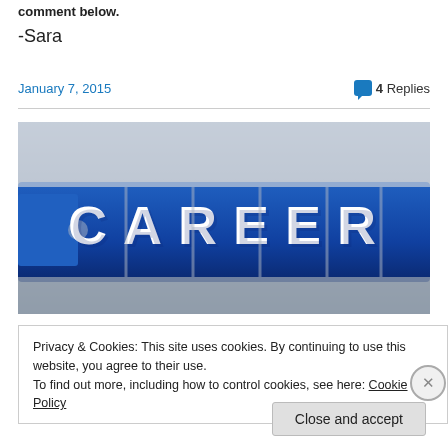comment below.
-Sara
January 7, 2015
4 Replies
[Figure (photo): Blue puzzle pieces arranged to spell out the word CAREER in white capital letters, on a background of grey and blue puzzle pieces.]
Privacy & Cookies: This site uses cookies. By continuing to use this website, you agree to their use.
To find out more, including how to control cookies, see here: Cookie Policy
Close and accept